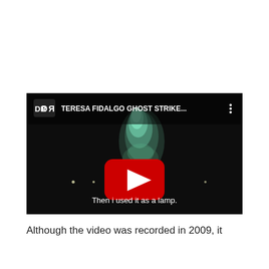[Figure (screenshot): YouTube video thumbnail showing 'TERESA FIDALGO GHOST STRIKE...' with a dark background featuring a ghostly green figure and a red YouTube play button. Subtitle reads 'Then i used it as a lamp.']
Although the video was recorded in 2009, it